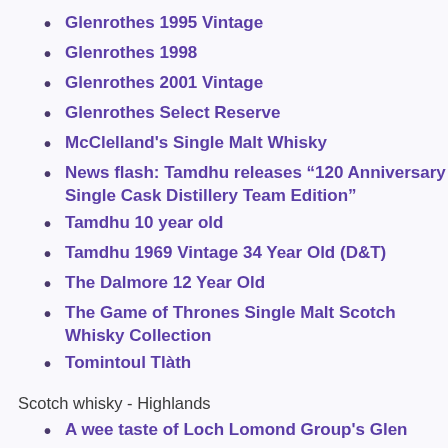Glenrothes 1988
Glenrothes 1995 Vintage
Glenrothes 1998
Glenrothes 2001 Vintage
Glenrothes Select Reserve
McClelland’s Single Malt Whisky
News flash: Tamdhu releases “120 Anniversary Single Cask Distillery Team Edition”
Tamdhu 10 year old
Tamdhu 1969 Vintage 34 Year Old (D&T)
The Dalmore 12 Year Old
The Game of Thrones Single Malt Scotch Whisky Collection
Tomintoul Tlàth
Scotch whisky - Highlands
A wee taste of Loch Lomond Group’s Glen